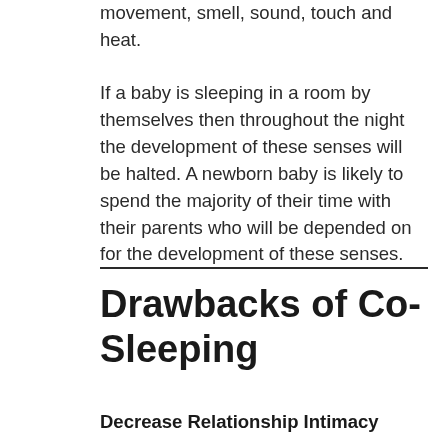movement, smell, sound, touch and heat. If a baby is sleeping in a room by themselves then throughout the night the development of these senses will be halted. A newborn baby is likely to spend the majority of their time with their parents who will be depended on for the development of these senses.
Drawbacks of Co-Sleeping
Decrease Relationship Intimacy